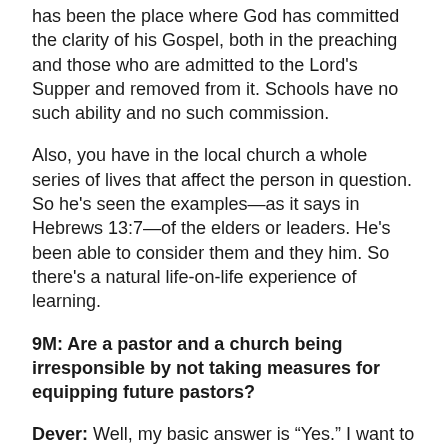has been the place where God has committed the clarity of his Gospel, both in the preaching and those who are admitted to the Lord's Supper and removed from it. Schools have no such ability and no such commission.
Also, you have in the local church a whole series of lives that affect the person in question. So he's seen the examples—as it says in Hebrews 13:7—of the elders or leaders. He's been able to consider them and they him. So there's a natural life-on-life experience of learning.
9M: Are a pastor and a church being irresponsible by not taking measures for equipping future pastors?
Dever: Well, my basic answer is “Yes.” I want to be